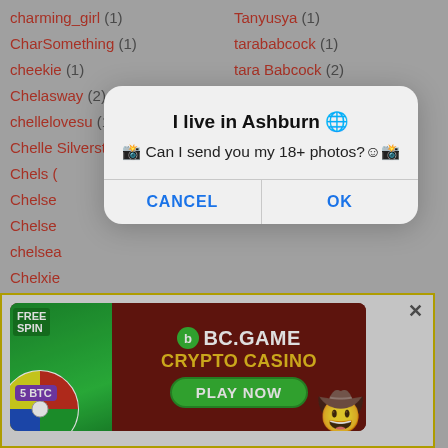charming_girl (1)
Tanyusya (1)
CharSomething (1)
tarababcock (1)
cheekie (1)
tara Babcock (2)
Chelasway (2)
Taste.of.heaven (1)
chellelovesu (1)
tasya666 (1)
Chelle Silverstein (1)
Tasya Mikhailova (1)
Chels (
Chelse
Chelse
chelsea
Chelxie
Che.mcsorley (1)
TattedMamii (1)
[Figure (screenshot): Modal dialog: 'I live in Ashburn 🌐 Can I send you my 18+ photos?☺ CANCEL / OK']
[Figure (infographic): BC.GAME Crypto Casino advertisement banner with FREE SPIN, 5 BTC, PLAY NOW button]